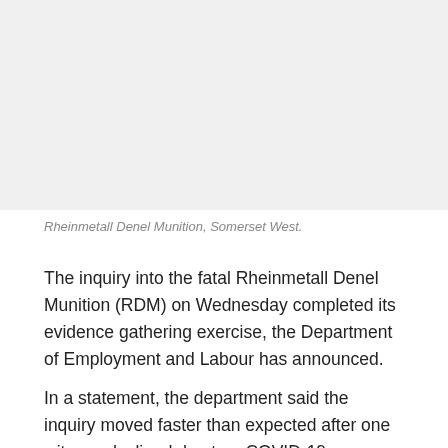[Figure (photo): Photograph of Rheinmetall Denel Munition facility in Somerset West (image area appears blank/white in this crop).]
Rheinmetall Denel Munition, Somerset West.
The inquiry into the fatal Rheinmetall Denel Munition (RDM) on Wednesday completed its evidence gathering exercise, the Department of Employment and Labour has announced.
In a statement, the department said the inquiry moved faster than expected after one witness declined due to a COVID-19 scare, while another would only be available on